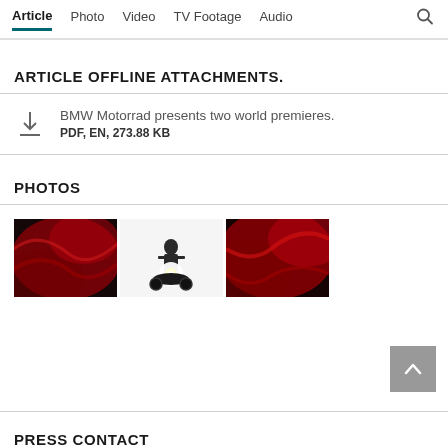Article  Photo  Video  TV Footage  Audio
ARTICLE OFFLINE ATTACHMENTS.
BMW Motorrad presents two world premieres.
PDF, EN, 273.88 KB
PHOTOS
[Figure (photo): Three thumbnail photos showing a motorcycle world premiere event: left and right images show red dramatic lighting effects, center image shows a motorcyclist silhouette with bright headlight in white/grey background]
PRESS CONTACT